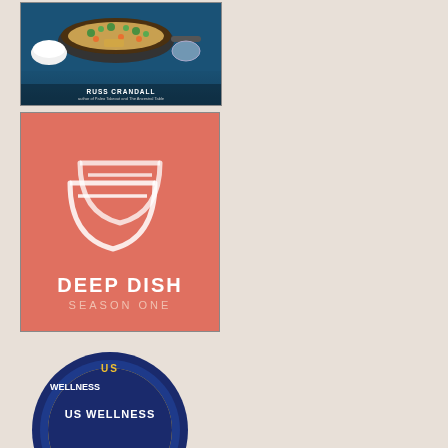[Figure (photo): Book cover photo showing a skillet with rice/grain dish and vegetables on blue background. Author name 'RUSS CRANDALL' and subtitle 'author of Paleo Takeout and The Ancestral Table']
[Figure (logo): Deep Dish Season One logo — salmon/coral background with two overlapping white bowl outlines, text 'DEEP DISH' large bold and 'SEASON ONE' below in lighter weight]
[Figure (logo): US Wellness Meats logo — circular badge with blue border, yellow/green tropical plant design, red cursive 'meats' text overlapping]